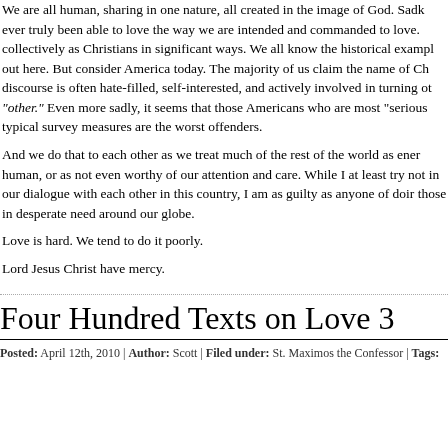We are all human, sharing in one nature, all created in the image of God. Sadly, we have never truly been able to love the way we are intended and commanded to love. We have failed collectively as Christians in significant ways. We all know the historical examples, I won't spell them out here. But consider America today. The majority of us claim the name of Christ, yet our public discourse is often hate-filled, self-interested, and actively involved in turning others into the dreaded "other." Even more sadly, it seems that those Americans who are most "serious" about faith by typical survey measures are the worst offenders.
And we do that to each other as we treat much of the rest of the world as enemies, as less than human, or as not even worthy of our attention and care. While I at least try not to participate in our dialogue with each other in this country, I am as guilty as anyone of doing this to those in desperate need around our globe.
Love is hard. We tend to do it poorly.
Lord Jesus Christ have mercy.
Four Hundred Texts on Love 3
Posted: April 12th, 2010 | Author: Scott | Filed under: St. Maximos the Confessor | Tags: